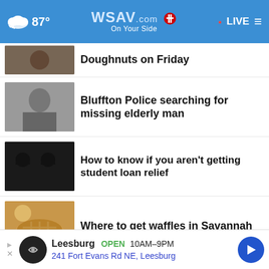87° WSAV.com On Your Side LIVE
Doughnuts on Friday
Bluffton Police searching for missing elderly man
How to know if you aren't getting student loan relief
Where to get waffles in Savannah
'Swatting' call directed at Greene's home probed
Tybee to host competition for chance at Cannes Intl
First lady tests positive in COVID
Leesburg OPEN 10AM–9PM 241 Fort Evans Rd NE, Leesburg